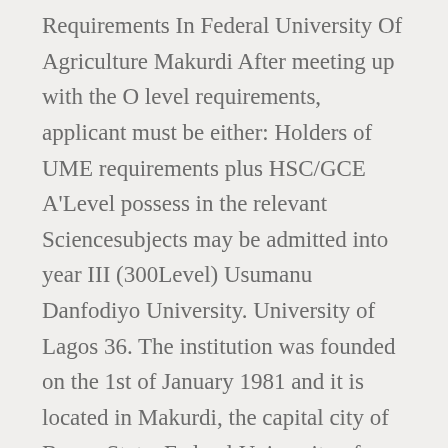Requirements In Federal University Of Agriculture Makurdi After meeting up with the O level requirements, applicant must be either: Holders of UME requirements plus HSC/GCE A'Level possess in the relevant Sciencesubjects may be admitted into year III (300Level) Usumanu Danfodiyo University. University of Lagos 36. The institution was founded on the 1st of January 1981 and it is located in Makurdi, the capital city of Benue State. Federal University of Agriculture, Makurdi (FUAM) JUPEB registration form is out on sale for the 2020/2021 academic session. Candidates are required to pay a non-refundable fee of N2,000.00 (Two Thousand Naira) only,